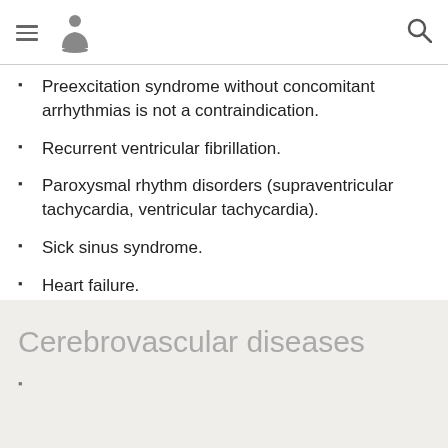[hamburger menu icon] [person/meditation icon] [search icon]
Preexcitation syndrome without concomitant arrhythmias is not a contraindication.
Recurrent ventricular fibrillation.
Paroxysmal rhythm disorders (supraventricular tachycardia, ventricular tachycardia).
Sick sinus syndrome.
Heart failure.
Cardiac septal defect, acquired.
Cerebrovascular diseases